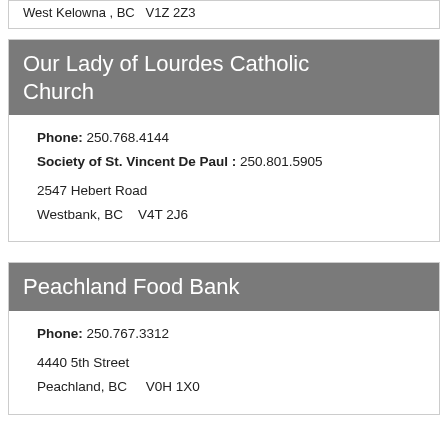West Kelowna , BC   V1Z 2Z3
Our Lady of Lourdes Catholic Church
Phone: 250.768.4144
Society of St. Vincent De Paul : 250.801.5905
2547 Hebert Road
Westbank, BC   V4T 2J6
Peachland Food Bank
Phone: 250.767.3312
4440 5th Street
Peachland, BC   V0H 1X0